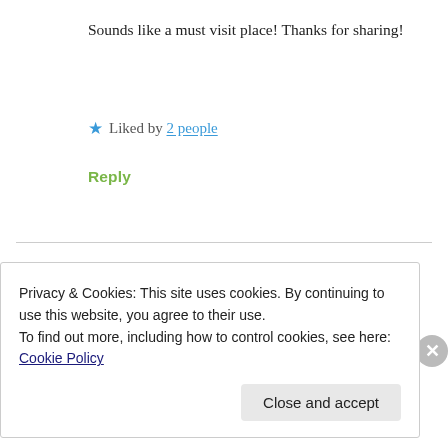Sounds like a must visit place! Thanks for sharing!
★ Liked by 2 people
Reply
Chocoviv says: October 19, 2019 at 3:45 pm
Privacy & Cookies: This site uses cookies. By continuing to use this website, you agree to their use. To find out more, including how to control cookies, see here: Cookie Policy
Close and accept